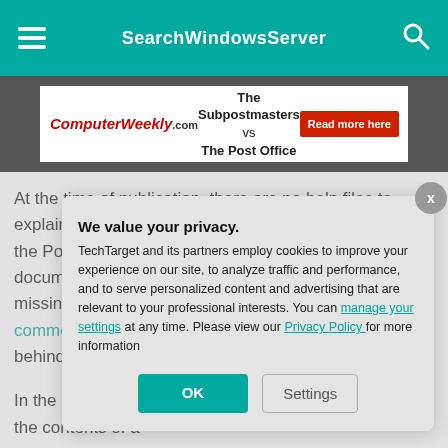SearchWindowsServer
[Figure (screenshot): ComputerWeekly.com advertisement banner: 'The Subpostmasters vs The Post Office' with a red 'Read more here' button]
At the time of publication, there are no help files to explain this functionality. This is a recurring theme with the PowerShell documentation e missing outright. comments on th behind the cmdle
In the PowerShe the contents of a
[Figure (screenshot): Privacy consent modal overlay: 'We value your privacy.' TechTarget and its partners employ cookies to improve your experience on our site, to analyze traffic and performance, and to serve personalized content and advertising that are relevant to your professional interests. You can manage your settings at any time. Please view our Privacy Policy for more information. Buttons: OK, Settings.]